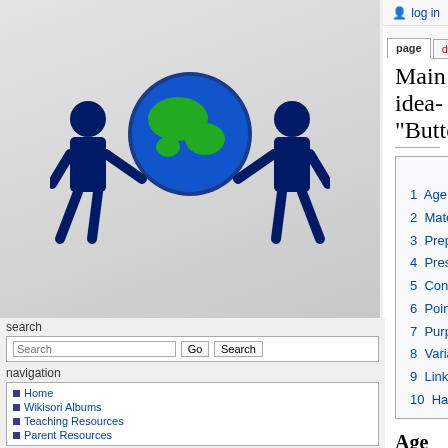log in
Main idea-"Butterflies"
| Contents |
| --- |
| 1 Age |
| 2 Materials |
| 3 Preparation |
| 4 Presentation |
| 5 Control Of Error |
| 6 Points Of Interest |
| 7 Purpose |
| 8 Variation |
| 9 Links |
| 10 Handouts/Attachments |
Age
9-12
Materials
[Figure (logo): Wikisori logo: two blue human figures holding a globe]
search
Home
Wikisori Albums
Teaching Resources
Parent Resources
Worksheets/Printouts
Homemade Materials
Current events
Random page
Help
tools
What links here
Related changes